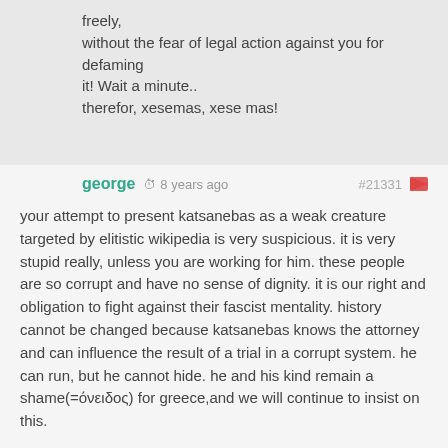freely,
without the fear of legal action against you for defaming it! Wait a minute..
therefor, xesemas, xese mas!
george  ©  8 years ago    #21331  🚩
your attempt to present katsanebas as a weak creature targeted by elitistic wikipedia is very suspicious. it is very stupid really, unless you are working for him. these people are so corrupt and have no sense of dignity. it is our right and obligation to fight against their fascist mentality. history cannot be changed because katsanebas knows the attorney and can influence the result of a trial in a corrupt system. he can run, but he cannot hide. he and his kind remain a shame(=όνειδος) for greece,and we will continue to insist on this.